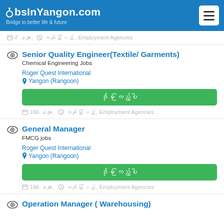JobsInYangon.com - Bridge to better life & future
📅 7 နေများ, 🕐 အချိန်ပြည့် , Employment Agencies
Senior Quality Engineer(Textile/ Garments)
Chemical Engineering Jobs
Roger Quest International
Yangon (Rangoon)
ဒိုမ ကြည့်ပါ
📅 165 နေများ, 🕐 အချိန်ပြည့် , Employment Agencies
General Manager
FMCG jobs
Roger Quest International
Yangon (Rangoon)
ဒိုမ ကြည့်ပါ
📅 165 နေများ, 🕐 အချိန်ပြည့် , Employment Agencies
Operation Manager ( Warehousing)